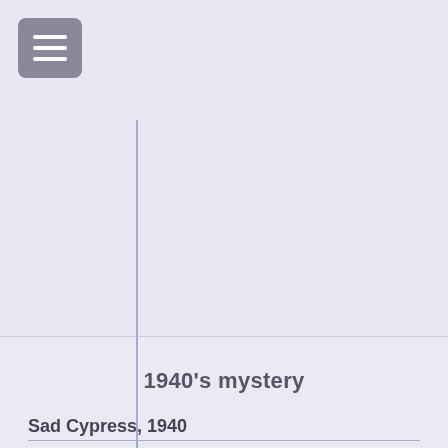[Figure (screenshot): Menu/hamburger button icon in grey rounded rectangle at top left]
1940's mystery
Sad Cypress, 1940